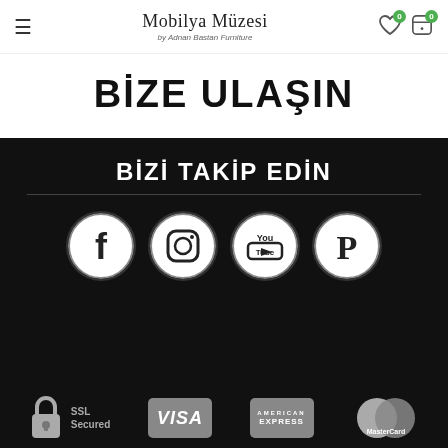Mobilya Müzesi by Adnan Bastan Furniture
[Figure (screenshot): BİZE ULAŞIN banner on white background]
BİZİ TAKİP EDİN
[Figure (infographic): Social media icons: Facebook, Instagram, YouTube, Pinterest in circular frames on black background]
[Figure (infographic): Payment security row: SSL Secured padlock, VISA, American Express, MasterCard logos]